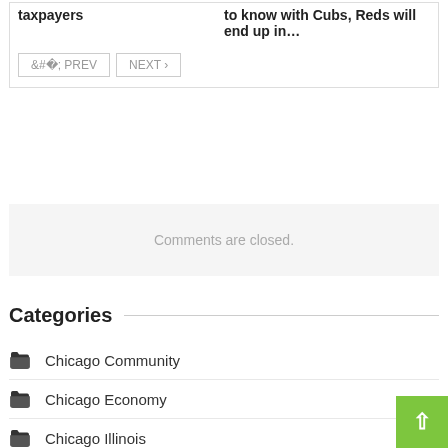taxpayers
to know with Cubs, Reds will end up in…
PREV  NEXT
Comments are closed.
Categories
Chicago Community
Chicago Economy
Chicago Illinois
Chicago Tax
Chicago Tourism